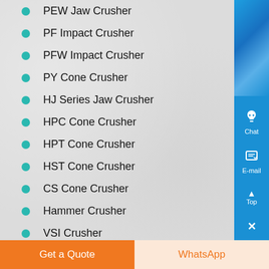PEW Jaw Crusher
PF Impact Crusher
PFW Impact Crusher
PY Cone Crusher
HJ Series Jaw Crusher
HPC Cone Crusher
HPT Cone Crusher
HST Cone Crusher
CS Cone Crusher
Hammer Crusher
VSI Crusher